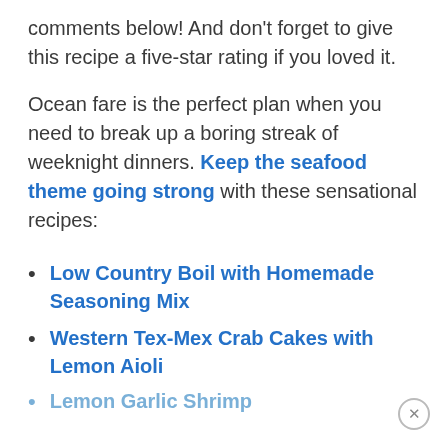comments below! And don't forget to give this recipe a five-star rating if you loved it.
Ocean fare is the perfect plan when you need to break up a boring streak of weeknight dinners. Keep the seafood theme going strong with these sensational recipes:
Low Country Boil with Homemade Seasoning Mix
Western Tex-Mex Crab Cakes with Lemon Aioli
Lemon Garlic Shrimp